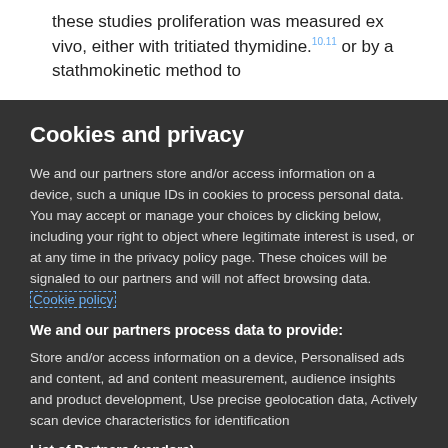these studies proliferation was measured ex vivo, either with tritiated thymidine.10.11 or by a stathmokinetic method to
Cookies and privacy
We and our partners store and/or access information on a device, such a unique IDs in cookies to process personal data. You may accept or manage your choices by clicking below, including your right to object where legitimate interest is used, or at any time in the privacy policy page. These choices will be signaled to our partners and will not affect browsing data. Cookie policy
We and our partners process data to provide:
Store and/or access information on a device, Personalised ads and content, ad and content measurement, audience insights and product development, Use precise geolocation data, Actively scan device characteristics for identification
List of Partners (vendors)
I Accept